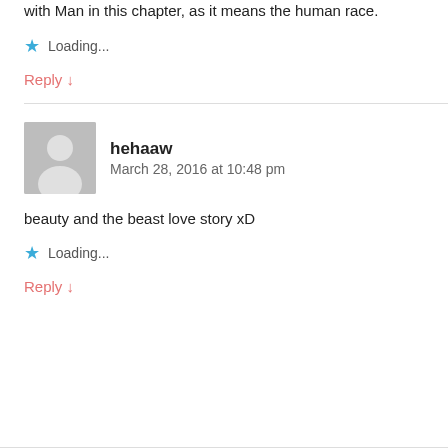with Man in this chapter, as it means the human race.
Loading...
Reply ↓
hehaaw
March 28, 2016 at 10:48 pm
beauty and the beast love story xD
Loading...
Reply ↓